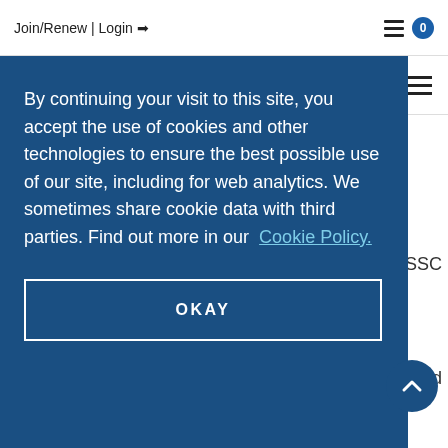Join/Renew | Login
By continuing your visit to this site, you accept the use of cookies and other technologies to ensure the best possible use of our site, including for web analytics. We sometimes share cookie data with third parties. Find out more in our Cookie Policy.
OKAY
accurate
Ensure all storage condition part numbers are listed and accurate
When Reviewing Master Specification REVISIONS